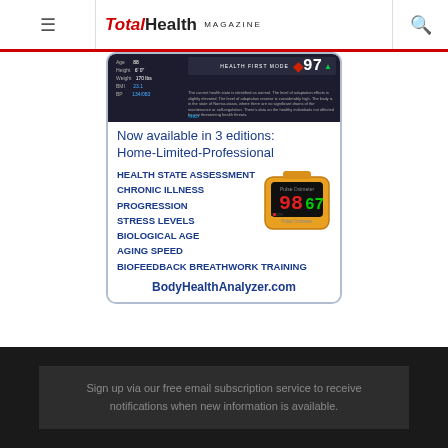TotalHealth MAGAZINE
[Figure (screenshot): Dark-themed health app screenshot showing age, height, weight, BMI, and blood pressure stats with a health first mode display and SpO2 reading of 97]
Now available in 3 editions: Home-Limited-Professional
HEALTH STATE ASSESSMENT
CHRONIC ILLNESS PROGRESSION
STRESS LEVELS
BIOLOGICAL AGE
AGING SPEED
BIOFEEDBACK BREATHWORK TRAINING
[Figure (photo): Pulse oximeter device showing reading 98 and 67]
BodyHealthAnalyzer.com
Sign up via our free email subscription service to receive notifications when new information is available.